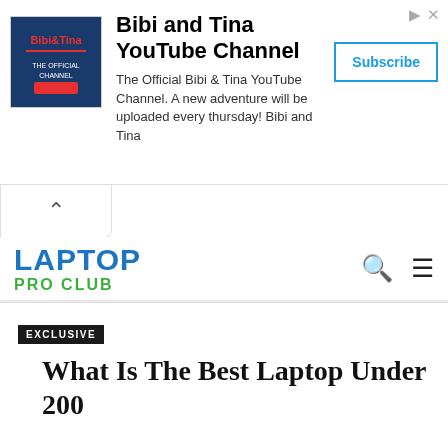[Figure (other): Bibi and Tina YouTube Channel advertisement banner with channel logo, description text, and Subscribe button]
LAPTOP
PRO CLUB
EXCLUSIVE
What Is The Best Laptop Under 200